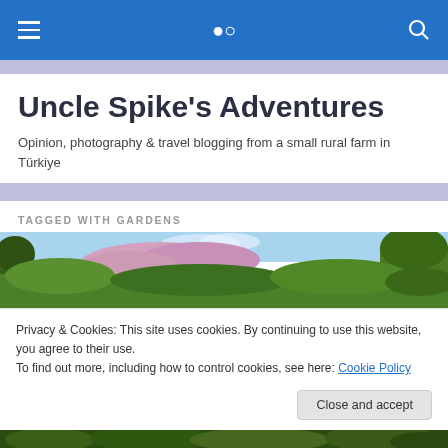Uncle Spike's Adventures — navigation bar with hamburger menu and search icon
Uncle Spike's Adventures
Opinion, photography & travel blogging from a small rural farm in Türkiye
TAGGED WITH GARDENS
[Figure (photo): Outdoor garden scene with flowering pink/purple shrubs and green trees under a blue sky]
Privacy & Cookies: This site uses cookies. By continuing to use this website, you agree to their use.
To find out more, including how to control cookies, see here: Cookie Policy
Close and accept
[Figure (photo): Bottom strip of dense green garden foliage]